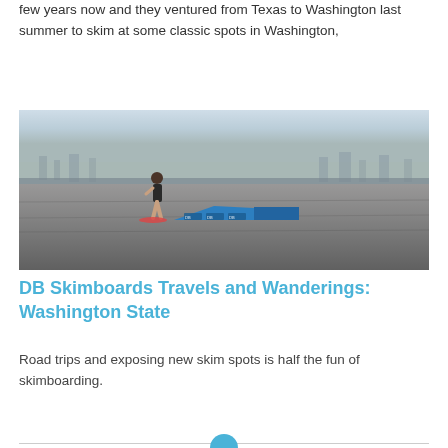few years now and they ventured from Texas to Washington last summer to skim at some classic spots in Washington,
[Figure (photo): A skimboarder riding on a flat sandy beach with a blue ramp obstacle, hazy city skyline visible in the background]
DB Skimboards Travels and Wanderings: Washington State
Road trips and exposing new skim spots is half the fun of skimboarding.